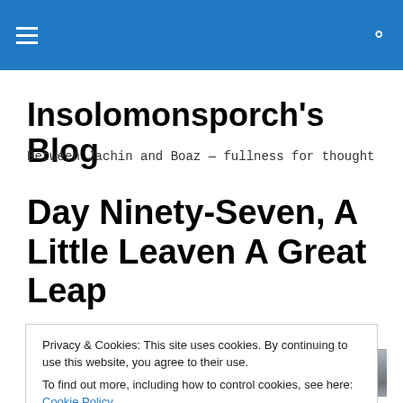Insolomonsporch's Blog
Insolomonsporch's Blog
Between Jachin and Boaz — fullness for thought
Day Ninety-Seven, A Little Leaven A Great Leap
[Figure (photo): Partial view of a grayscale textured photo strip at top of blog post image]
Privacy & Cookies: This site uses cookies. By continuing to use this website, you agree to their use.
To find out more, including how to control cookies, see here: Cookie Policy